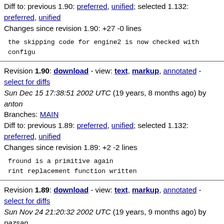Diff to: previous 1.90: preferred, unified; selected 1.132: preferred, unified
Changes since revision 1.90: +27 -0 lines
the skipping code for engine2 is now checked with configu
Revision 1.90: download - view: text, markup, annotated - select for diffs
Sun Dec 15 17:38:51 2002 UTC (19 years, 8 months ago) by anton
Branches: MAIN
Diff to: previous 1.89: preferred, unified; selected 1.132: preferred, unified
Changes since revision 1.89: +2 -2 lines
fround is a primitive again
rint replacement function written
Revision 1.89: download - view: text, markup, annotated - select for diffs
Sun Nov 24 21:20:32 2002 UTC (19 years, 9 months ago) by pazsan
Branches: MAIN
Diff to: previous 1.88: preferred, unified; selected 1.132: preferred, unified
Changes since revision 1.88: +8 -8 lines
Cleaned up configuring